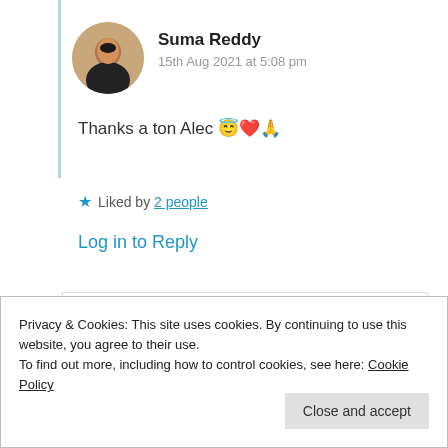[Figure (photo): Circular avatar photo of Suma Reddy, woman in dark clothing]
Suma Reddy
15th Aug 2021 at 5:08 pm
Thanks a ton Alec 😇❤️🙏
★ Liked by 2 people
Log in to Reply
[Figure (photo): Circular avatar photo of Imrana News Network, floral image]
Imrana News Network
Privacy & Cookies: This site uses cookies. By continuing to use this website, you agree to their use.
To find out more, including how to control cookies, see here: Cookie Policy
Close and accept